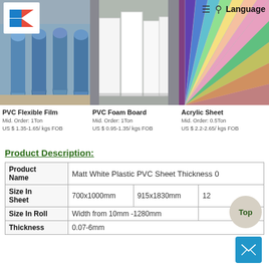[Figure (photo): Three product photos: blue PVC flexible film rolls, white PVC foam boards, and colorful acrylic sheets fan]
PVC Flexible Film
Mid. Order: 1Ton
US $ 1.35-1.65/ kgs FOB
PVC Foam Board
Mid. Order: 1Ton
US $ 0.95-1.35/ kgs FOB
Acrylic Sheet
Mid. Order: 0.5Ton
US $ 2.2-2.65/ kgs FOB
Product Description:
|  |  |
| --- | --- |
| Product Name | Matt White Plastic PVC Sheet Thickness 0... |
| Size In Sheet | 700x1000mm | 915x1830mm | 12... |
| Size In Roll | Width from 10mm -1280mm |
| Thickness | 0.07-6mm |